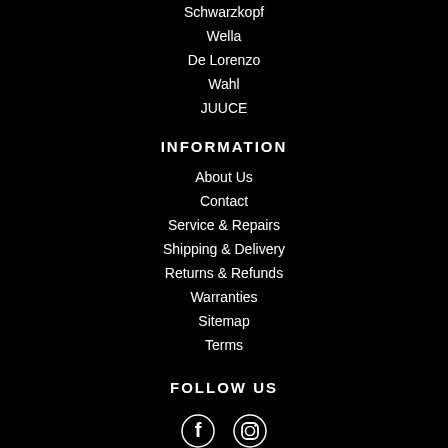Schwarzkopf
Wella
De Lorenzo
Wahl
JUUCE
INFORMATION
About Us
Contact
Service & Repairs
Shipping & Delivery
Returns & Refunds
Warranties
Sitemap
Terms
FOLLOW US
[Figure (illustration): Facebook and Instagram social media icons in white]